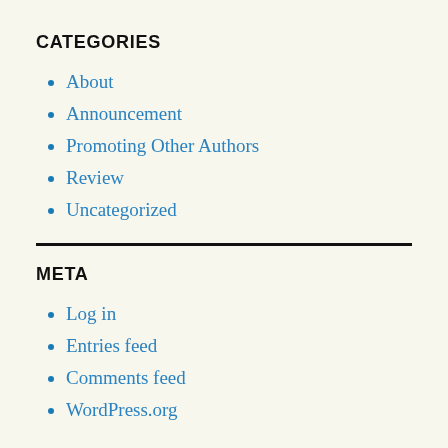CATEGORIES
About
Announcement
Promoting Other Authors
Review
Uncategorized
META
Log in
Entries feed
Comments feed
WordPress.org